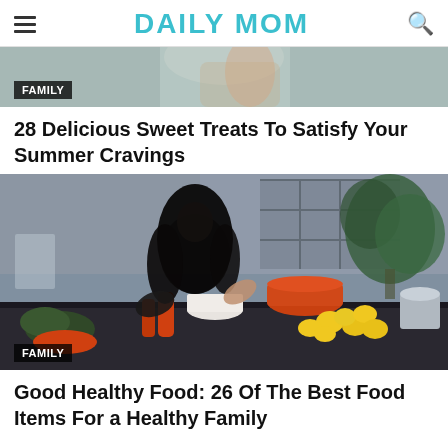DAILY MOM
[Figure (photo): Partial top image with FAMILY badge overlay, cropped photo of a person]
28 Delicious Sweet Treats To Satisfy Your Summer Cravings
[Figure (photo): Woman with long dark hair cooking in a modern kitchen, surrounded by lemons, orange cookware, and spice grinders on a dark counter. Large plant in background. FAMILY badge overlay at bottom left.]
Good Healthy Food: 26 Of The Best Food Items For a Healthy Family